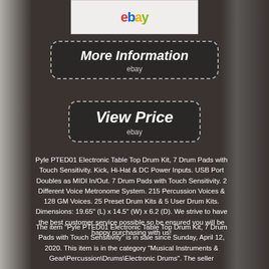[Figure (screenshot): eBay logo shown on product image strip at top]
[Figure (infographic): More Information button with dashed border, italic white text, ebay subtext]
[Figure (infographic): View Price button with dashed border, italic white text, ebay subtext]
Pyle PTED01 Electronic Table Top Drum Kit, 7 Drum Pads with Touch Sensitivity. Kick, Hi-Hat & DC Power Inputs. USB Port Doubles as MIDI In/Out. 7 Drum Pads with Touch Sensitivity. 2 Different Voice Metronome System. 215 Percussion Voices & 128 GM Voices. 25 Preset Drum Kits & 5 User Drum Kits. Dimensions: 19.65" (L) x 14.5" (W) x 6.2 (D). We strive to have the best customer service possible so be ensured you will be happy purchasing with us!
The item "Pyle PTED01 Electronic Table Top Drum Kit, 7 Drum Pads with Touch Sensitivity" is in sale since Sunday, April 12, 2020. This item is in the category "Musical Instruments & Gear\Percussion\Drums\Electronic Drums". The seller